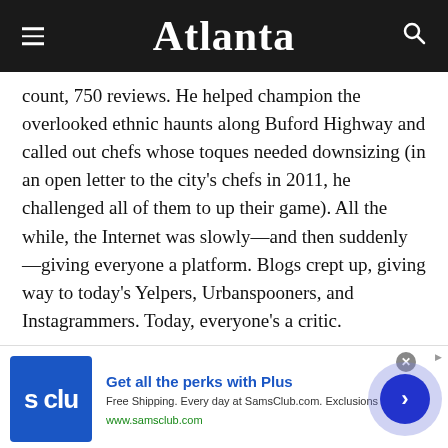Atlanta
count, 750 reviews. He helped champion the overlooked ethnic haunts along Buford Highway and called out chefs whose toques needed downsizing (in an open letter to the city’s chefs in 2011, he challenged all of them to up their game). All the while, the Internet was slowly—and then suddenly—giving everyone a platform. Blogs crept up, giving way to today’s Yelpers, Urbanspooners, and Instagrammers. Today, everyone’s a critic.
[Figure (other): Sam's Club advertisement banner: logo showing 's clu', headline 'Get all the perks with Plus', body text 'Free Shipping. Every day at SamsClub.com. Exclusions apply.', URL 'www.samsclub.com', with a blue arrow circle button on the right and close X button at top right.]